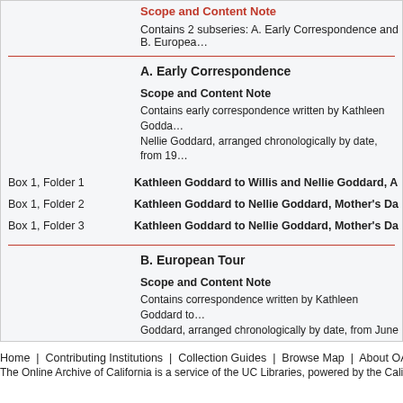Scope and Content Note
Contains 2 subseries: A. Early Correspondence and B. Europea…
A. Early Correspondence
Scope and Content Note
Contains early correspondence written by Kathleen Goddard to Nellie Goddard, arranged chronologically by date, from 19…
Box 1, Folder 1 — Kathleen Goddard to Willis and Nellie Goddard, A…
Box 1, Folder 2 — Kathleen Goddard to Nellie Goddard, Mother's Da…
Box 1, Folder 3 — Kathleen Goddard to Nellie Goddard, Mother's Da…
B. European Tour
Scope and Content Note
Contains correspondence written by Kathleen Goddard to Goddard, arranged chronologically by date, from June 192…
Home | Contributing Institutions | Collection Guides | Browse Map | About OAC | …
The Online Archive of California is a service of the UC Libraries, powered by the California D…